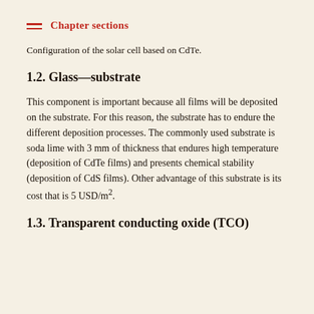Chapter sections
Configuration of the solar cell based on CdTe.
1.2. Glass—substrate
This component is important because all films will be deposited on the substrate. For this reason, the substrate has to endure the different deposition processes. The commonly used substrate is soda lime with 3 mm of thickness that endures high temperature (deposition of CdTe films) and presents chemical stability (deposition of CdS films). Other advantage of this substrate is its cost that is 5 USD/m².
1.3. Transparent conducting oxide (TCO)